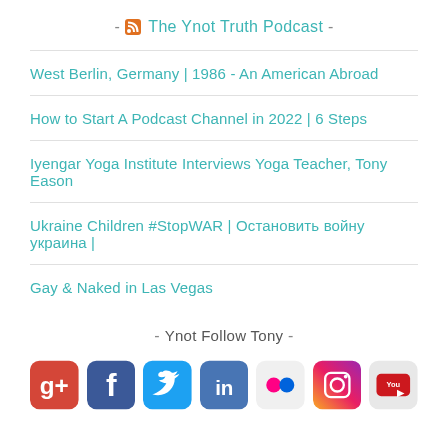- The Ynot Truth Podcast -
West Berlin, Germany | 1986 - An American Abroad
How to Start A Podcast Channel in 2022 | 6 Steps
Iyengar Yoga Institute Interviews Yoga Teacher, Tony Eason
Ukraine Children #StopWAR | Остановить войну украина |
Gay & Naked in Las Vegas
- Ynot Follow Tony -
[Figure (other): Social media icons: Google+, Facebook, Twitter, LinkedIn, Flickr, Instagram, YouTube]